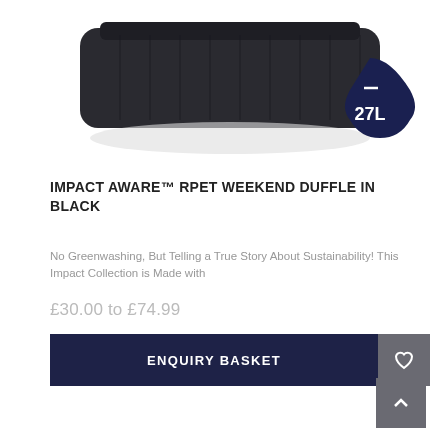Navigation bar with menu, search, wishlist, basket, and more icons
[Figure (photo): Product photo of a dark grey/black weekend duffle bag with a dark navy water drop badge showing '27L' capacity]
IMPACT AWARE™ RPET WEEKEND DUFFLE IN BLACK
No Greenwashing, But Telling a True Story About Sustainability! This Impact Collection is Made with
£30.00 to £74.99
ENQUIRY BASKET